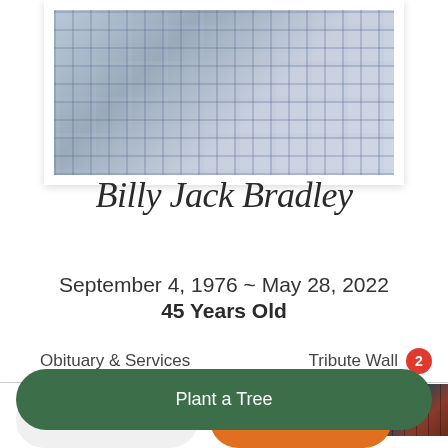[Figure (photo): Partial photo of a person wearing a blue and white plaid shirt, shown from chest/torso area, framed with white border on cream background]
Billy Jack Bradley
September 4, 1976 ~ May 28, 2022
45 Years Old
Obituary & Services
Tribute Wall 2
Share a memory
Send Flowers
Plant a Tree